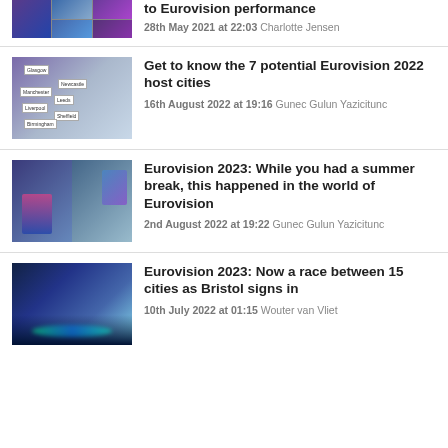[Figure (photo): Concert photo collage with purple and blue tones (partially visible at top)]
to Eurovision performance
28th May 2021 at 22:03 Charlotte Jensen
[Figure (photo): Map of UK showing potential Eurovision 2022 host cities including Glasgow, Newcastle, Manchester, Leeds, Liverpool, Sheffield, Birmingham]
Get to know the 7 potential Eurovision 2022 host cities
16th August 2022 at 19:16 Gunec Gulun Yazicitunc
[Figure (photo): Two photos: person holding Eurovision trophy wearing pink hat, and woman celebrating with flag]
Eurovision 2023: While you had a summer break, this happened in the world of Eurovision
2nd August 2022 at 19:22 Gunec Gulun Yazicitunc
[Figure (photo): Large arena with blue and green lighting, Eurovision stage (partially visible at bottom)]
Eurovision 2023: Now a race between 15 cities as Bristol signs in
10th July 2022 at 01:15 Wouter van Vliet